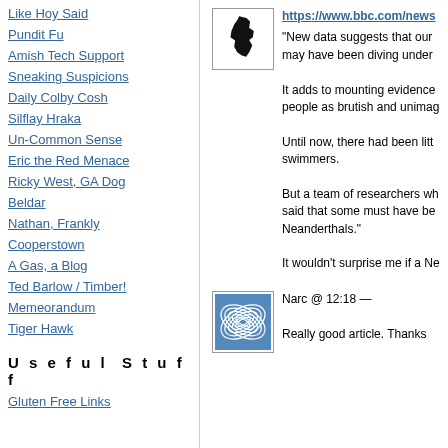Like Hoy Said
Pundit Fu
Amish Tech Support
Sneaking Suspicions
Daily Colby Cosh
Silflay Hraka
Un-Common Sense
Eric the Red Menace
Ricky West, GA Dog
Beldar
Nathan, Frankly
Cooperstown
A Gas, a Blog
Ted Barlow / Timber!
Memeorandum
Tiger Hawk
Useful Stuff
Gluten Free Links
[Figure (illustration): Black silhouette of New Jersey state shape on white background with border]
https://www.bbc.com/news
"New data suggests that our may have been diving under
It adds to mounting evidence people as brutish and unimag
Until now, there had been litt swimmers.
But a team of researchers wh said that some must have be Neanderthals."
It wouldn't surprise me if a Ne
[Figure (illustration): Blue square icon with concentric oval/leaf line art pattern]
Narc @ 12:18 —
Really good article. Thanks